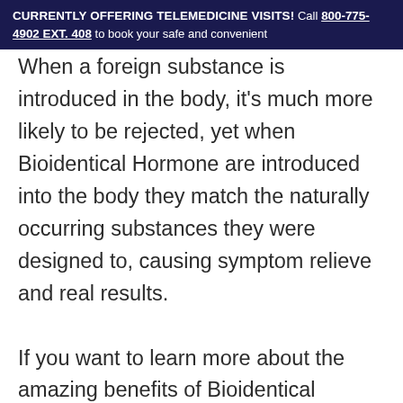CURRENTLY OFFERING TELEMEDICINE VISITS! Call 800-775-4902 EXT. 408 to book your safe and convenient
When a foreign substance is introduced in the body, it's much more likely to be rejected, yet when Bioidentical Hormone are introduced into the body they match the naturally occurring substances they were designed to, causing symptom relieve and real results.

If you want to learn more about the amazing benefits of Bioidentical Hormone Replacement Therapy, contact Cara Flamer, M.D. of Toronto GSH Medical and schedule your consultation today. As a holistic medicine practitioner, Dr. Flamer may integrate lifestyle counseling and other practices into your Bioidentical Hormone Replacement Therapy in order